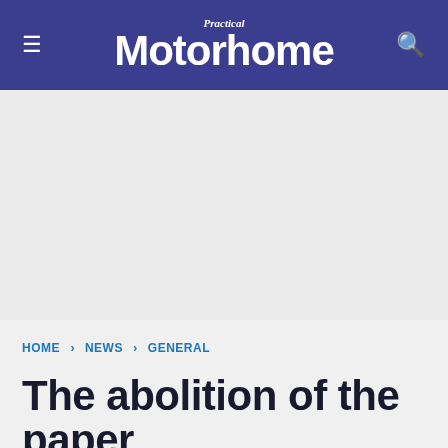Practical Motorhome
[Figure (other): Advertisement banner area (grey/blank)]
HOME › NEWS › GENERAL
The abolition of the paper counterpart driving